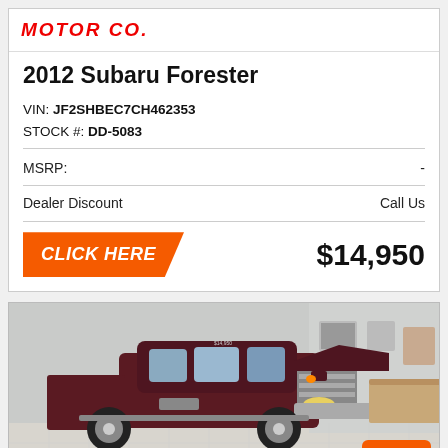[Figure (logo): Motor Co. logo in red italic bold text]
2012 Subaru Forester
VIN: JF2SHBEC7CH462353
STOCK #: DD-5083
MSRP: -
Dealer Discount   Call Us
CLICK HERE   $14,950
[Figure (photo): Dark red/maroon Ford F-250 or similar heavy duty pickup truck parked inside a dealership showroom with light gray walls and tiled floor]